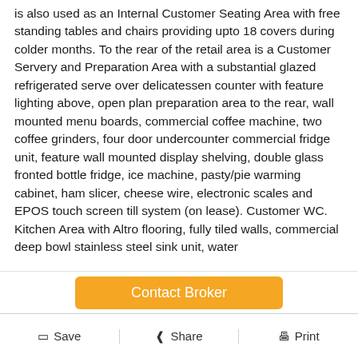is also used as an Internal Customer Seating Area with free standing tables and chairs providing upto 18 covers during colder months. To the rear of the retail area is a Customer Servery and Preparation Area with a substantial glazed refrigerated serve over delicatessen counter with feature lighting above, open plan preparation area to the rear, wall mounted menu boards, commercial coffee machine, two coffee grinders, four door undercounter commercial fridge unit, feature wall mounted display shelving, double glass fronted bottle fridge, ice machine, pasty/pie warming cabinet, ham slicer, cheese wire, electronic scales and EPOS touch screen till system (on lease). Customer WC. Kitchen Area with Altro flooring, fully tiled walls, commercial deep bowl stainless steel sink unit, water
Contact Broker
Save   Share   Print